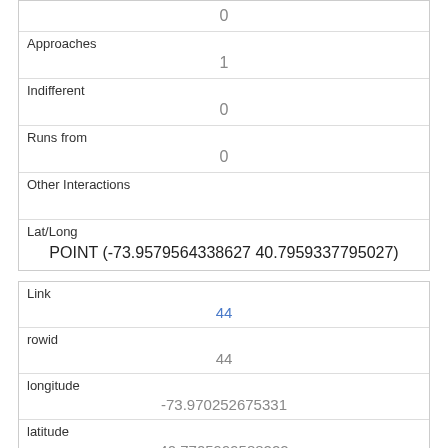| 0 |
| Approaches | 1 |
| Indifferent | 0 |
| Runs from | 0 |
| Other Interactions |  |
| Lat/Long | POINT (-73.9579564338627 40.7959337795027) |
| Link | 44 |
| rowid | 44 |
| longitude | -73.970252675331 |
| latitude | 40.7705999588222 |